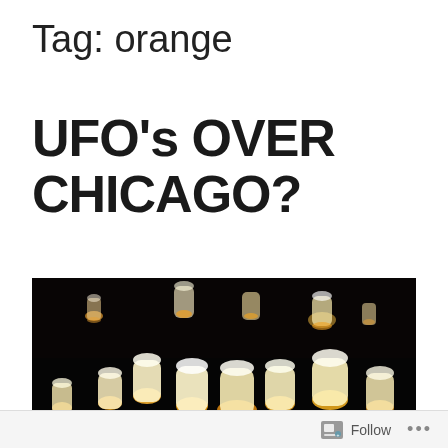Tag: orange
UFO's OVER CHICAGO?
[Figure (photo): Night sky scene with many glowing orange and white Chinese sky lanterns floating up, with silhouetted people in the foreground releasing them against a dark black sky.]
Follow ...